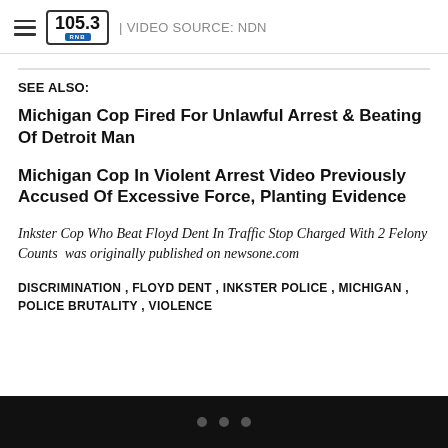105.3 RNB | VIDEO SOURCE: NDN
SEE ALSO:
Michigan Cop Fired For Unlawful Arrest & Beating Of Detroit Man
Michigan Cop In Violent Arrest Video Previously Accused Of Excessive Force, Planting Evidence
Inkster Cop Who Beat Floyd Dent In Traffic Stop Charged With 2 Felony Counts  was originally published on newsone.com
DISCRIMINATION , FLOYD DENT , INKSTER POLICE , MICHIGAN , POLICE BRUTALITY , VIOLENCE